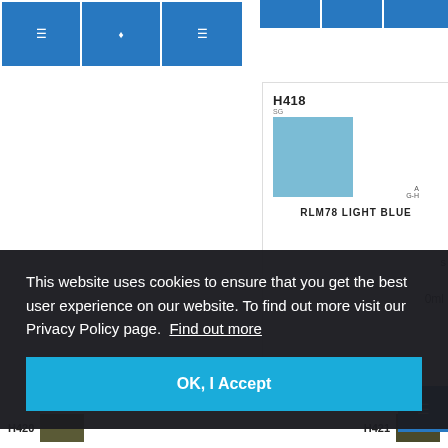[Figure (screenshot): Partial view of top-left blue grid cells showing product navigation]
[Figure (screenshot): Partial view of top-right blue grid cells]
[Figure (screenshot): Product card for Mr Hobby Aqueous Hobby Colour H418 RLM78 Light Blue with blue-grey color swatch]
Mr Hobby Aqueous Hobby Colour H418 RLM78 Light Blue
This website uses cookies to ensure that you get the best user experience on our website. To find out more visit our Privacy Policy page. Find out more
OK, I Accept
[Figure (screenshot): Bottom partial view of H420 and H421 color swatches]